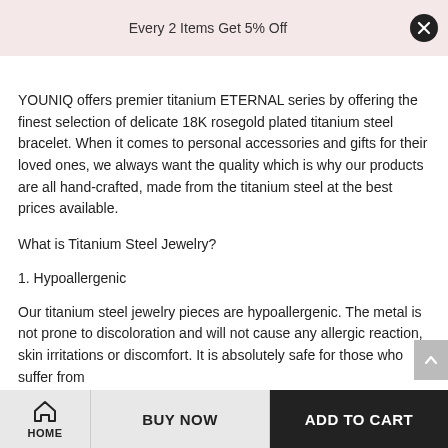Every 2 Items Get 5% Off
YOUNIQ offers premier titanium ETERNAL series by offering the finest selection of delicate 18K rosegold plated titanium steel bracelet. When it comes to personal accessories and gifts for their loved ones, we always want the quality which is why our products are all hand-crafted, made from the titanium steel at the best prices available.
What is Titanium Steel Jewelry?
1. Hypoallergenic
Our titanium steel jewelry pieces are hypoallergenic. The metal is not prone to discoloration and will not cause any allergic reaction, skin irritations or discomfort. It is absolutely safe for those who suffer from
HOME   BUY NOW   ADD TO CART